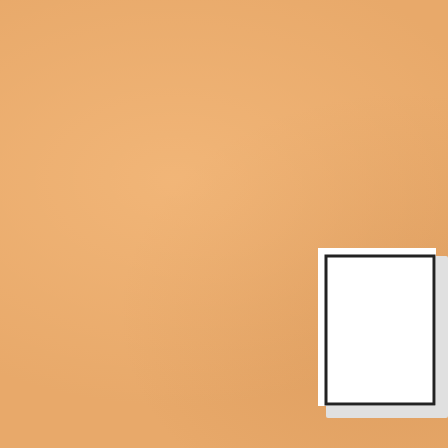I count myself fortunate to thought I had nothing red
As I did, and began assembling also found a few earlier re
And in this process, this a week:
[Figure (other): A partially visible rectangular box outline, appearing to be a slide or image placeholder]
Here is the slide show, be the first painting of the ne Shadows."